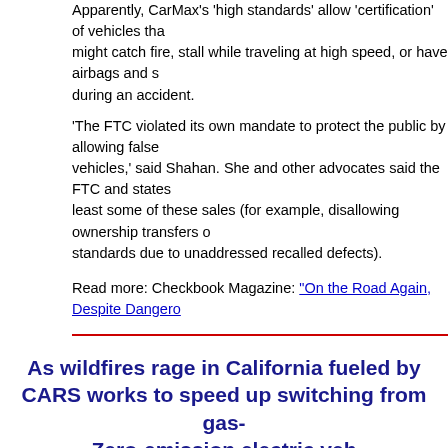Apparently, CarMax's 'high standards' allow 'certification' of vehicles that might catch fire, stall while traveling at high speed, or have airbags and s during an accident.
'The FTC violated its own mandate to protect the public by allowing false vehicles,' said Shahan. She and other advocates said the FTC and states least some of these sales (for example, disallowing ownership transfers standards due to unaddressed recalled defects).
Read more: Checkbook Magazine: "On the Road Again, Despite Dangero
As wildfires rage in California fueled by CARS works to speed up switching from gas- Zero-emission electric veh
CARS is playing a major, pivotal role in working to win passage of legisla electric vehicles more accessible and affordable, so consumers, business access EVs via short-term memberships, freeing them from having to ma risky, expensive long-term loans or leases.
This session, CARS worked closely with environmental group allies and t Assemblymember Al Muratsuchi, and co-authored by Senators Ben Alle